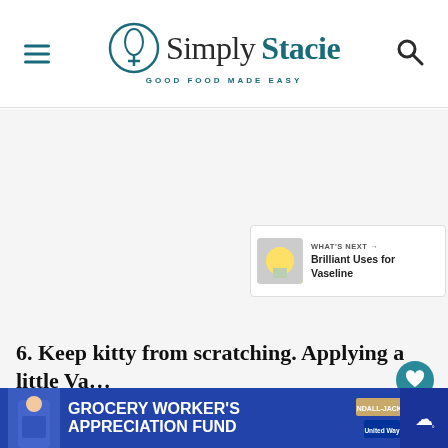Simply Stacie — Good Food Made Easy
[Figure (photo): Large food/recipe image area (blank/loading), with a heart like button showing 138 likes, a share button, and a 'What's Next' panel showing 'Brilliant Uses for Vaseline']
6. Keep kitty from scratching. Applying a little Va... ...re
[Figure (other): Advertisement banner: Grocery Worker's Appreciation Fund with Kendall Jackson and United Way logos, and a person in blue shirt]